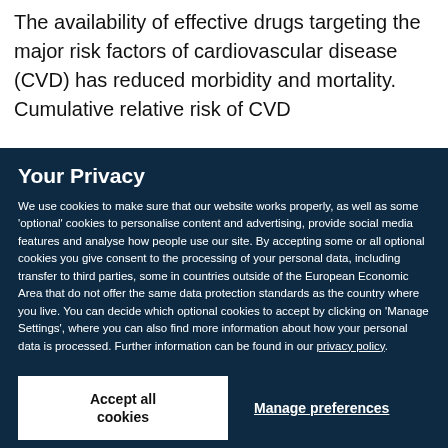The availability of effective drugs targeting the major risk factors of cardiovascular disease (CVD) has reduced morbidity and mortality. Cumulative relative risk of CVD
Your Privacy
We use cookies to make sure that our website works properly, as well as some 'optional' cookies to personalise content and advertising, provide social media features and analyse how people use our site. By accepting some or all optional cookies you give consent to the processing of your personal data, including transfer to third parties, some in countries outside of the European Economic Area that do not offer the same data protection standards as the country where you live. You can decide which optional cookies to accept by clicking on 'Manage Settings', where you can also find more information about how your personal data is processed. Further information can be found in our privacy policy.
Accept all cookies
Manage preferences